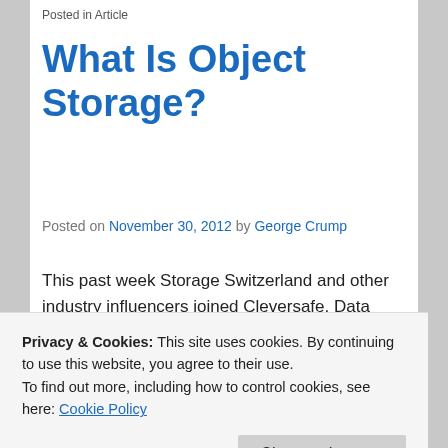Posted in Article
What Is Object Storage?
Posted on November 30, 2012 by George Crump
This past week Storage Switzerland and other industry influencers joined Cleversafe, Data Direct Networks, Intel, Nexsan, Quantum, and Scality at the Next Generation Object Storage Summit in Florida. The first order of business was to try to explain what Object …
Privacy & Cookies: This site uses cookies. By continuing to use this website, you agree to their use.
To find out more, including how to control cookies, see here: Cookie Policy
What Is LIES?